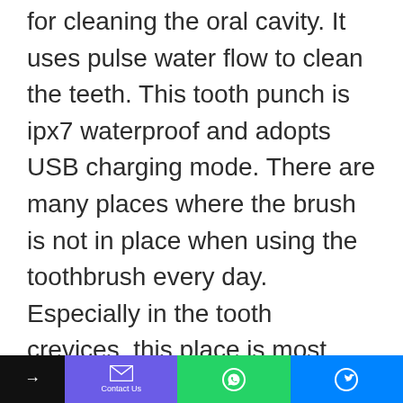for cleaning the oral cavity. It uses pulse water flow to clean the teeth. This tooth punch is ipx7 waterproof and adopts USB charging mode. There are many places where the brush is not in place when using the toothbrush every day. Especially in the tooth crevices, this place is most likely to hide dirt, causing related diseases of teeth and gums. The usual brushing and cleaning can not clean the gingival sulcus and crevices. If the cleaning is not in place, the remaining food will become a nutrient hotbed of bacteria and cause